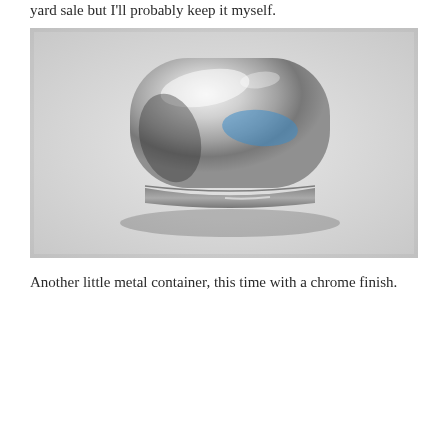yard sale but I'll probably keep it myself.
[Figure (photo): A shiny chrome-finished metal container, rounded pill/capsule shape, sitting on a light grey surface. The polished surface reflects the surroundings including a blue object.]
Another little metal container, this time with a chrome finish.